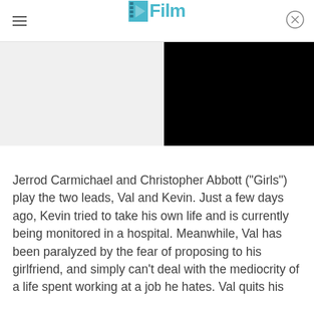/Film
[Figure (screenshot): Black video player overlay on right side of page, with gray area on left]
Jerrod Carmichael and Christopher Abbott ("Girls") play the two leads, Val and Kevin. Just a few days ago, Kevin tried to take his own life and is currently being monitored in a hospital. Meanwhile, Val has been paralyzed by the fear of proposing to his girlfriend, and simply can't deal with the mediocrity of a life spent working at a job he hates. Val quits his